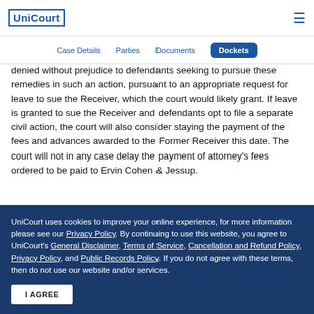UniCourt | Case Details | Parties | Documents | Dockets
denied without prejudice to defendants seeking to pursue these remedies in such an action, pursuant to an appropriate request for leave to sue the Receiver, which the court would likely grant. If leave is granted to sue the Receiver and defendants opt to file a separate civil action, the court will also consider staying the payment of the fees and advances awarded to the Former Receiver this date. The court will not in any case delay the payment of attorney's fees ordered to be paid to Ervin Cohen & Jessup.
UniCourt uses cookies to improve your online experience, for more information please see our Privacy Policy. By continuing to use this website, you agree to UniCourt's General Disclaimer, Terms of Service, Cancellation and Refund Policy, Privacy Policy, and Public Records Policy. If you do not agree with these terms, then do not use our website and/or services.